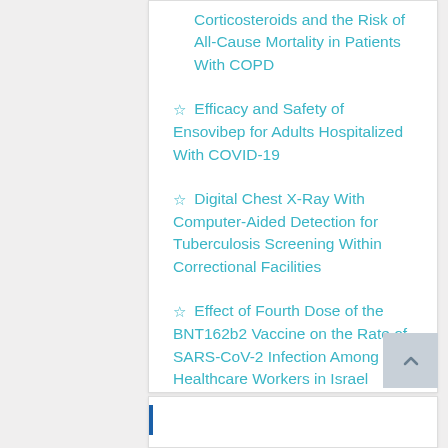Corticosteroids and the Risk of All-Cause Mortality in Patients With COPD
☆ Efficacy and Safety of Ensovibep for Adults Hospitalized With COVID-19
☆ Digital Chest X-Ray With Computer-Aided Detection for Tuberculosis Screening Within Correctional Facilities
☆ Effect of Fourth Dose of the BNT162b2 Vaccine on the Rate of SARS-CoV-2 Infection Among Healthcare Workers in Israel
Risk for ILD/Pneumonitis Examined for Trastuzumab Deruxtecan